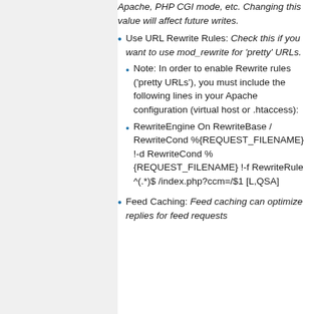Apache, PHP CGI mode, etc. Changing this value will affect future writes.
Use URL Rewrite Rules: Check this if you want to use mod_rewrite for 'pretty' URLs.
Note: In order to enable Rewrite rules ('pretty URLs'), you must include the following lines in your Apache configuration (virtual host or .htaccess):
RewriteEngine On RewriteBase / RewriteCond %{REQUEST_FILENAME} !-d RewriteCond %{REQUEST_FILENAME} !-f RewriteRule ^(.*)$ /index.php?ccm=/$1 [L,QSA]
Feed Caching: Feed caching can optimize replies for feed requests